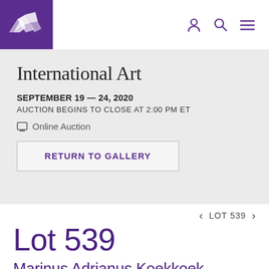[Figure (logo): Waddington's auction house logo — white geometric origami-style shape on purple background]
International Art
SEPTEMBER 19 — 24, 2020
AUCTION BEGINS TO CLOSE AT 2:00 PM ET
Online Auction
RETURN TO GALLERY
LOT 539
Lot 539
Marinus Adrianus Koekkoek the elder (1…–1…)